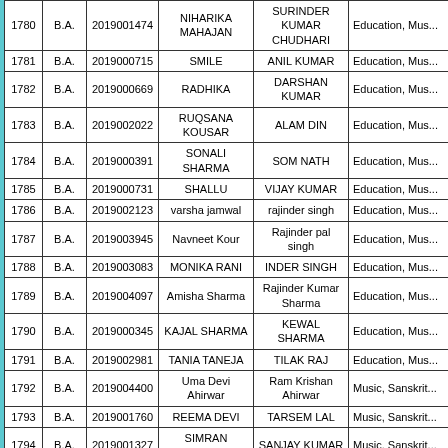| # | Degree | Roll No | Name | Father Name | Subjects |
| --- | --- | --- | --- | --- | --- |
| 1780 | B.A. | 2019001474 | NIHARIKA MAHAJAN | SURINDER KUMAR CHUDHARI | Education, Mus... |
| 1781 | B.A. | 2019000715 | SMILE | ANIL KUMAR | Education, Mus... |
| 1782 | B.A. | 2019000669 | RADHIKA | DARSHAN KUMAR | Education, Mus... |
| 1783 | B.A. | 2019002022 | RUQSANA KOUSAR | ALAM DIN | Education, Mus... |
| 1784 | B.A. | 2019000391 | SONALI SHARMA | SOM NATH | Education, Mus... |
| 1785 | B.A. | 2019000731 | SHALLU | VIJAY KUMAR | Education, Mus... |
| 1786 | B.A. | 2019002123 | varsha jamwal | rajinder singh | Education, Mus... |
| 1787 | B.A. | 2019003945 | Navneet Kour | Rajinder pal singh | Education, Mus... |
| 1788 | B.A. | 2019003083 | MONIKA RANI | INDER SINGH | Education, Mus... |
| 1789 | B.A. | 2019004097 | Amisha Sharma | Rajinder Kumar Sharma | Education, Mus... |
| 1790 | B.A. | 2019000345 | KAJAL SHARMA | KEWAL SHARMA | Education, Mus... |
| 1791 | B.A. | 2019002981 | TANIA TANEJA | TILAK RAJ | Education, Mus... |
| 1792 | B.A. | 2019004400 | Uma Devi Ahirwar | Ram Krishan Ahirwar | Music, Sanskrit... |
| 1793 | B.A. | 2019001760 | REEMA DEVI | TARSEM LAL | Music, Sanskrit... |
| 1794 | B.A. | 2019001327 | SIMRAN KUMARI | SANJAY KUMAR | Music, Sanskrit... |
| 1795 | B.A. | 2019001962 | HARSHIKA VERMA | PARDEEP KUMAR | Psychology,... |